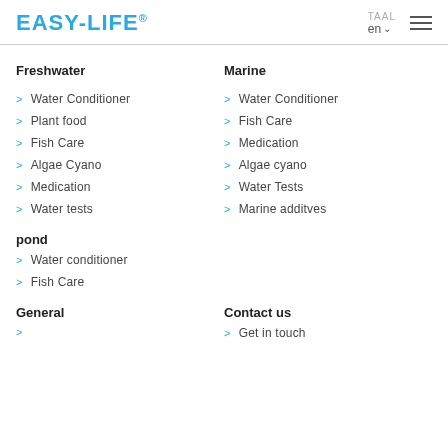EASY-LIFE®  TAAL en
Freshwater
Marine
> Water Conditioner
> Water Conditioner
> Plant food
> Fish Care
> Fish Care
> Medication
> Algae Cyano
> Algae cyano
> Medication
> Water Tests
> Water tests
> Marine additves
pond
> Water conditioner
> Fish Care
General
Contact us
>
> Get in touch